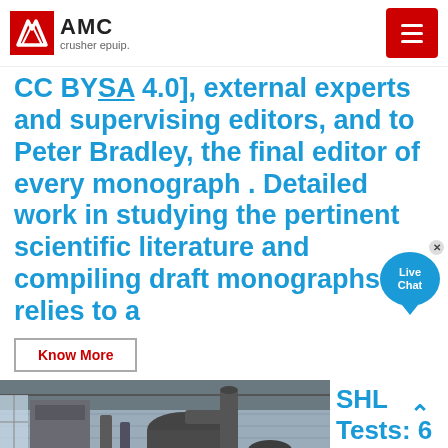AMC crusher epuip.
CC BYSA 4.0], external experts and supervising editors, and to Peter Bradley, the final editor of every monograph . Detailed work in studying the pertinent scientific literature and compiling draft monographs relies to a
Know More
[Figure (photo): Industrial machinery inside a warehouse — large metal cylinders and pipe ductwork, grey corrugated walls]
SHL Tests: 6 Smart Tips